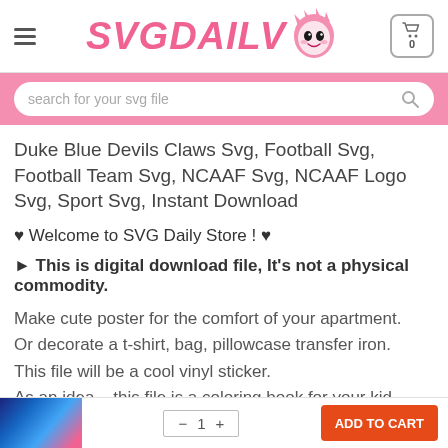SVGDAILV — SVG Daily Store header with hamburger menu, logo, and cart
search for your svg file
Duke Blue Devils Claws Svg, Football Svg, Football Team Svg, NCAAF Svg, NCAAF Logo Svg, Sport Svg, Instant Download
♥ Welcome to SVG Daily Store ! ♥
► This is digital download file, It's not a physical commodity.
Make cute poster for the comfort of your apartment.
Or decorate a t-shirt, bag, pillowcase transfer iron.
This file will be a cool vinyl sticker.
As an idea – this file is a coloring book for your kid.
This file is huge variation for a creative person.
[Figure (screenshot): Bottom navigation strip with product thumbnail, quantity selector, and add-to-cart button]